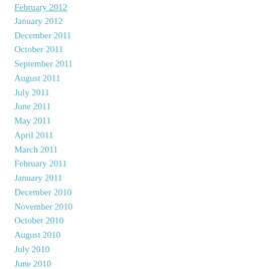February 2012
January 2012
December 2011
October 2011
September 2011
August 2011
July 2011
June 2011
May 2011
April 2011
March 2011
February 2011
January 2011
December 2010
November 2010
October 2010
August 2010
July 2010
June 2010